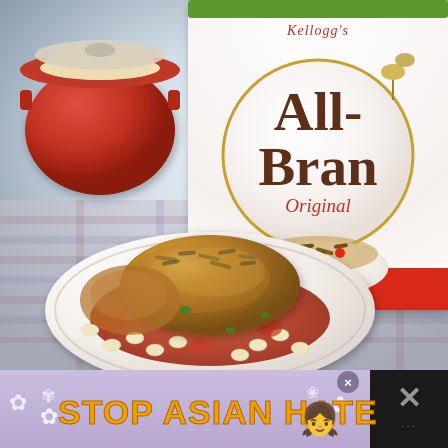[Figure (photo): Food photograph showing a Kellogg's All-Bran Original cereal box in the background, a red Dutch oven/pot to the left, and in the foreground a white plate with a herbed chicken breast served over a tomato and white bean sauce. The scene is set on a plaid tablecloth.]
[Figure (photo): Advertisement banner at the bottom of the image with a purple/lavender background and white flower/snowflake decorations. Contains bold orange text reading 'STOP ASIAN HATE' with an emoji of a girl, a close (×) button, and a dark panel on the right with an × icon.]